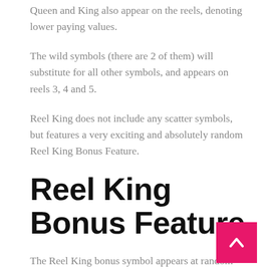Queen and King also appear on the reels, denoting lower paying values.
The wild symbols (there are 2 of them) will substitute for all other symbols, and appears on reels 3, 4 and 5.
Reel King does not include any scatter symbols, but features a very exciting and absolutely random Reel King Bonus Feature.
Reel King Bonus Feature
The Reel King bonus symbol appears at random intervals following a winning or non-profiting spin.